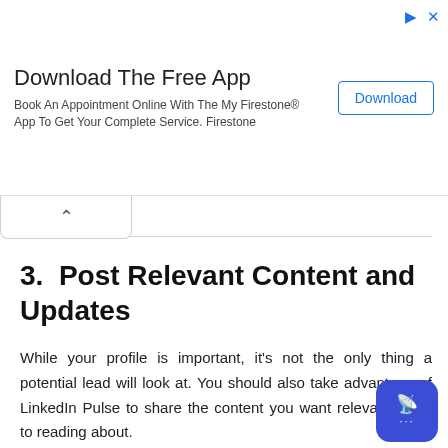[Figure (screenshot): Advertisement banner: 'Download The Free App' with subtitle 'Book An Appointment Online With The My Firestone® App To Get Your Complete Service. Firestone' and a 'Download' button on the right. Ad icons (triangle and X) in top-right corner.]
3.  Post Relevant Content and Updates
While your profile is important, it's not the only thing a potential lead will look at. You should also take advantage of LinkedIn Pulse to share the content you want relevant leads to reading about.
When you post on LinkedIn Pulse, people who follow your updates will be notified. By engaging with them on these posts this way you will increase the